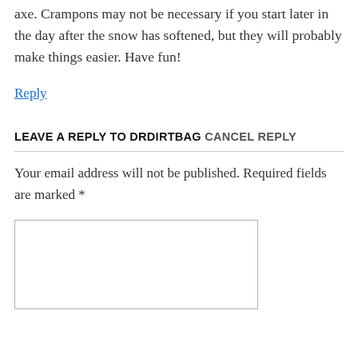axe. Crampons may not be necessary if you start later in the day after the snow has softened, but they will probably make things easier. Have fun!
Reply
LEAVE A REPLY TO DRDIRTBAG CANCEL REPLY
Your email address will not be published. Required fields are marked *
[Figure (other): Empty text area input box for comment submission]